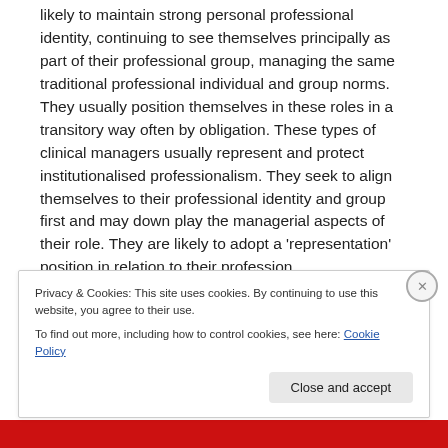likely to maintain strong personal professional identity, continuing to see themselves principally as part of their professional group, managing the same traditional professional individual and group norms. They usually position themselves in these roles in a transitory way often by obligation. These types of clinical managers usually represent and protect institutionalised professionalism. They seek to align themselves to their professional identity and group first and may down play the managerial aspects of their role. They are likely to adopt a 'representation' position in relation to their profession.
Privacy & Cookies: This site uses cookies. By continuing to use this website, you agree to their use.
To find out more, including how to control cookies, see here: Cookie Policy